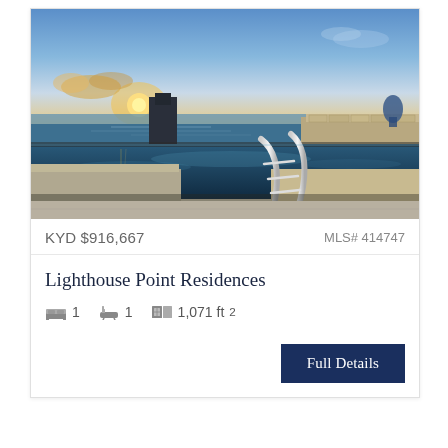[Figure (photo): Infinity pool at sunset overlooking the ocean, with a chrome pool ladder in the foreground and a stone barrier in the background, clear blue sky with clouds near the horizon.]
KYD $916,667
MLS# 414747
Lighthouse Point Residences
1 bed  1 bath  1,071 ft²
Full Details